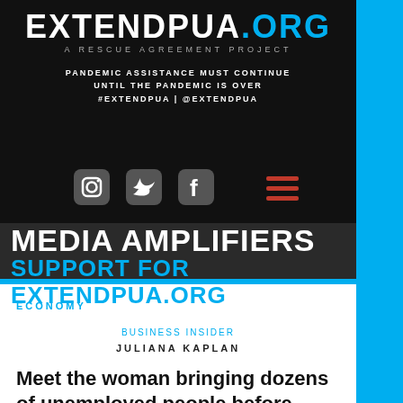[Figure (screenshot): ExtendPUA.org website header with dark background, logo, tagline, social media icons, and hamburger menu]
MEDIA AMPLIFIERS SUPPORT FOR EXTENDPUA.ORG
ECONOMY
BUSINESS INSIDER
JULIANA KAPLAN
Meet the woman bringing dozens of unemployed people before senators to shame them into extending unemployment. 'Americans are not